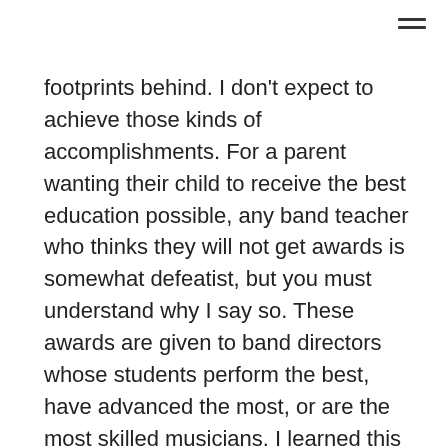footprints behind. I don't expect to achieve those kinds of accomplishments. For a parent wanting their child to receive the best education possible, any band teacher who thinks they will not get awards is somewhat defeatist, but you must understand why I say so. These awards are given to band directors whose students perform the best, have advanced the most, or are the most skilled musicians. I learned this while in Anaheim both in 2008 as well as in 2011. I don't teach those students.
In Anaheim, the biggest trophy, nearly as tall as I, was given to a school that brought hundreds of students. It was an aggregate award, for having the most highly accomplished musicians. In 2008, with my paltry 20